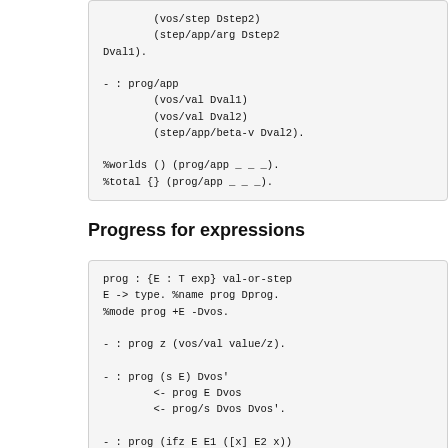(vos/step Dstep2)
        (step/app/arg Dstep2
Dval1).

- : prog/app
        (vos/val Dval1)
        (vos/val Dval2)
        (step/app/beta-v Dval2).

%worlds () (prog/app _ _ _).
%total {} (prog/app _ _ _).
Progress for expressions
prog : {E : T exp} val-or-step
E -> type. %name prog Dprog.
%mode prog +E -Dvos.

- : prog z (vos/val value/z).

- : prog (s E) Dvos'
        <- prog E Dvos
        <- prog/s Dvos Dvos'.

- : prog (ifz E E1 ([x] E2 x))
(vos/step Dstep)
        <- prog E Dvos
        <- prog/ifz Dvos _ _
Dstep.